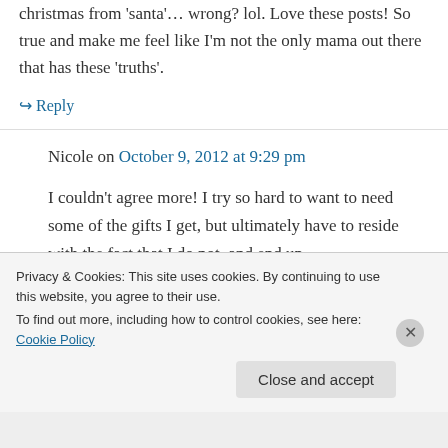christmas from 'santa'… wrong? lol. Love these posts! So true and make me feel like I'm not the only mama out there that has these 'truths'.
↪ Reply
Nicole on October 9, 2012 at 9:29 pm
I couldn't agree more! I try so hard to want to need some of the gifts I get, but ultimately have to reside with the fact that I do not, and end up
Privacy & Cookies: This site uses cookies. By continuing to use this website, you agree to their use.
To find out more, including how to control cookies, see here: Cookie Policy
Close and accept